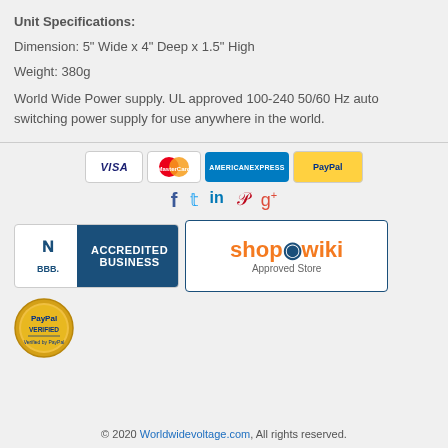Unit Specifications:
Dimension: 5" Wide x 4" Deep x 1.5" High
Weight: 380g
World Wide Power supply. UL approved 100-240 50/60 Hz auto switching power supply for use anywhere in the world.
[Figure (logo): Payment method icons: VISA, MasterCard, American Express, PayPal]
[Figure (logo): Social media icons: Facebook, Twitter, LinkedIn, Pinterest, Google+]
[Figure (logo): BBB Accredited Business badge and ShopWiki Approved Store badge]
[Figure (logo): PayPal Verified badge (gold seal)]
© 2020 Worldwidevoltage.com, All rights reserved.